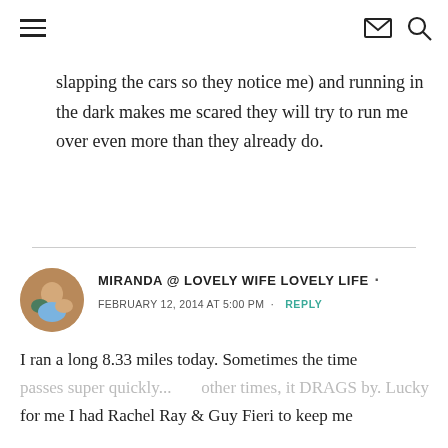slapping the cars so they notice me) and running in the dark makes me scared they will try to run me over even more than they already do.
MIRANDA @ LOVELY WIFE LOVELY LIFE · FEBRUARY 12, 2014 AT 5:00 PM · REPLY
I ran a long 8.33 miles today. Sometimes the time passes super quickly... other times, it DRAGS by. Lucky for me I had Rachel Ray & Guy Fieri to keep me